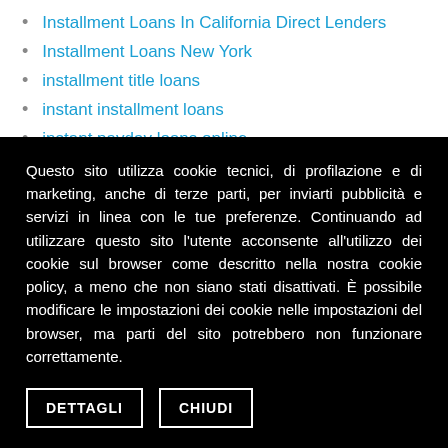Installment Loans In California Direct Lenders
Installment Loans New York
installment title loans
instant installment loans
instant payday loans online
InterracialPeopleMeet dating apps
Latin Brides Agency
Latin Dating Sites
Legit Installment Loans In Florida
lesbiansingles.org dating online free
Questo sito utilizza cookie tecnici, di profilazione e di marketing, anche di terze parti, per inviarti pubblicità e servizi in linea con le tue preferenze. Continuando ad utilizzare questo sito l'utente acconsente all'utilizzo dei cookie sul browser come descritto nella nostra cookie policy, a meno che non siano stati disattivati. È possibile modificare le impostazioni dei cookie nelle impostazioni del browser, ma parti del sito potrebbero non funzionare correttamente.
DETTAGLI  CHIUDI